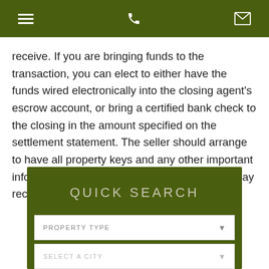Navigation bar with menu, phone, and mail icons
receive. If you are bringing funds to the transaction, you can elect to either have the funds wired electronically into the closing agent's escrow account, or bring a certified bank check to the closing in the amount specified on the settlement statement. The seller should arrange to have all property keys and any other important information for you at the closing so that you may receive these items at this time.
QUICK SEARCH
PROPERTY TYPE
SELECT A CITY